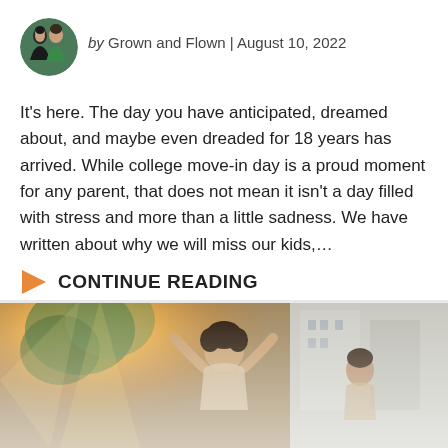[Figure (photo): Circular avatar photo of two women, one in a green top, for Grown and Flown author profile]
by Grown and Flown | August 10, 2022
It's here. The day you have anticipated, dreamed about, and maybe even dreaded for 18 years has arrived. While college move-in day is a proud moment for any parent, that does not mean it isn't a day filled with stress and more than a little sadness. We have written about why we will miss our kids,...
CONTINUE READING
[Figure (photo): Outdoor photo showing a young woman with curly hair raising her arms in celebration, with sunlit trees and buildings in the background, partially faded at the bottom]